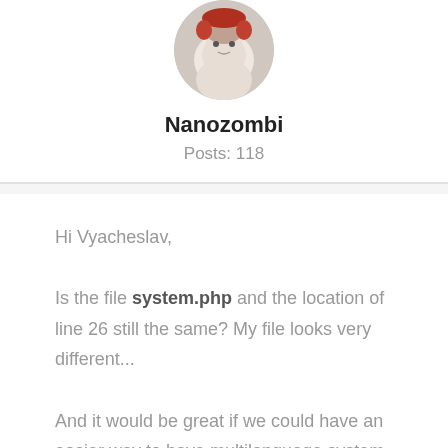[Figure (photo): Circular avatar image of user Nanozombi, showing an illustrated character with reddish tones at the top of the profile section]
Nanozombi
Posts: 118
Hi Vyacheslav,
Is the file system.php and the location of line 26 still the same? My file looks very different...
And it would be great if we could have an easier way to have multilanguage system pages for the Thank you and Checkout
Pages, I don't know if you have developed a...